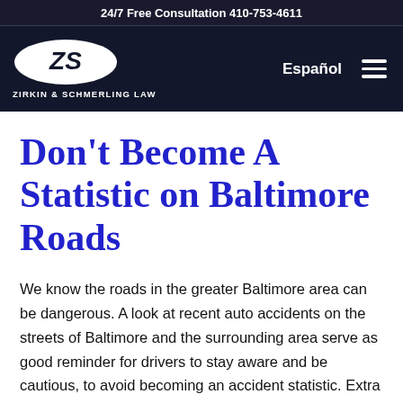24/7 Free Consultation 410-753-4611
[Figure (logo): Zirkin & Schmerling Law logo — white oval with stylized ZS letters, white text below reading ZIRKIN & SCHMERLING LAW, on dark navy background. Navigation bar includes Español link and hamburger menu icon.]
Don't Become A Statistic on Baltimore Roads
We know the roads in the greater Baltimore area can be dangerous. A look at recent auto accidents on the streets of Baltimore and the surrounding area serve as good reminder for drivers to stay aware and be cautious, to avoid becoming an accident statistic. Extra Caution Required for Motorcyclists and New Drivers In